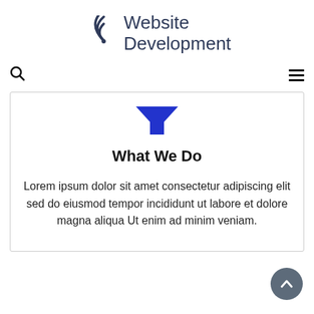[Figure (logo): Website Development logo with WiFi/signal arc icon to the left of the text]
Search icon and hamburger menu icon navigation bar
[Figure (illustration): Blue shield/filter funnel icon]
What We Do
Lorem ipsum dolor sit amet consectetur adipiscing elit sed do eiusmod tempor incididunt ut labore et dolore magna aliqua Ut enim ad minim veniam.